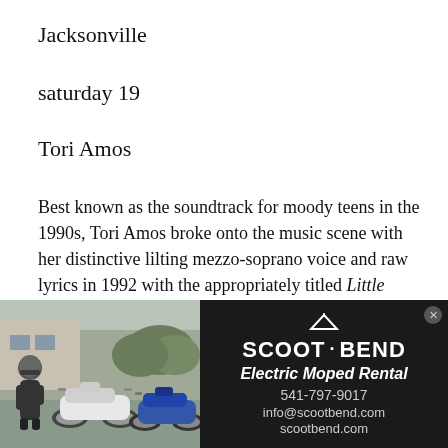Jacksonville
saturday 19
Tori Amos
Best known as the soundtrack for moody teens in the 1990s, Tori Amos broke onto the music scene with her distinctive lilting mezzo-soprano voice and raw lyrics in 1992 with the appropriately titled Little Earthquakes, and has released albums at a steady pace ever since. Her most recent, Unrepentant Geraldines (2014), is still alternatingly haunting and playful. The eight-time Grammy nominee continues to be, as the album title suggests, wholly unrepentant and outspoken. At a recent performance in Russia, she boldly performed a "lesbian anthem" by the group
[Figure (photo): Advertisement for Scoot Bend Electric Moped Rental featuring a photo of a person with mopeds on the left and the business information on a dark background on the right. Text includes: SCOOT·BEND, Electric Moped Rental, 541-797-9017, info@scootbend.com, scootbend.com]